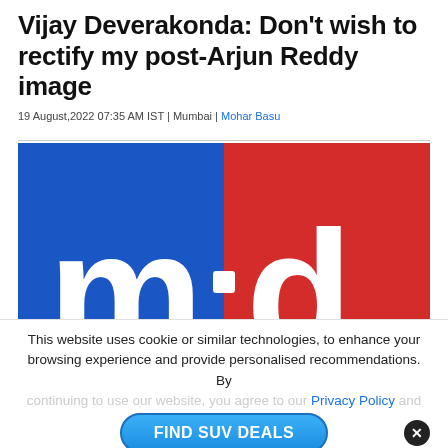Vijay Deverakonda: Don't wish to rectify my post-Arjun Reddy image
19 August,2022 07:35 AM IST | Mumbai | Mohar Basu
[Figure (logo): Mid-Day newspaper logo: blue left half with white 'm' and red right half with white 'd', separated by a white dot in the center]
This website uses cookie or similar technologies, to enhance your browsing experience and provide personalised recommendations. By continuing to use our website, you agree to our Privacy Policy and
[Figure (other): FIND SUV DEALS advertisement button with close (x) button and OK button]